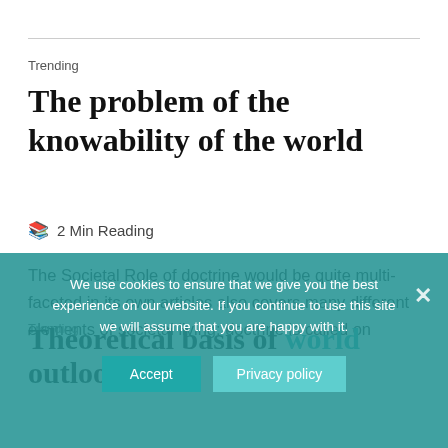Trending
The problem of the knowability of the world
📖  2 Min Reading
The Societal Role of doctrine would be quite multi-faceted in its own articles also covers many different elements of societal living: doctrine is called on
Trending
Theoretical basis of world outlook
We use cookies to ensure that we give you the best experience on our website. If you continue to use this site we will assume that you are happy with it.